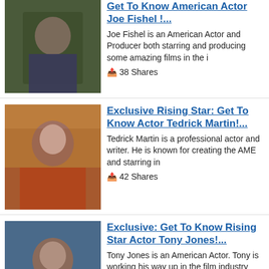[Figure (photo): Photo of Joe Fishel, partially visible at top]
Get To Know American Actor Joe Fishel !...
Joe Fishel is an American Actor and Producer both starring and producing some amazing films in the i
38 Shares
[Figure (photo): Photo of Tedrick Martin, man with beard in patterned shirt]
Exclusive Rising Star: Get To Know Actor Tedrick Martin!...
Tedrick Martin is a professional actor and writer. He is known for creating the AME and starring in
42 Shares
[Figure (photo): Photo of Tony Jones, man in blue shirt]
Exclusive: Get To Know Rising Star Actor Tony Jones!...
Tony Jones is an American Actor. Tony is working his way up in the film industry and catching indust
42 Shares
[Figure (photo): Photo of Dean Morgan, smiling older man in dark jacket]
Exclusive Rising Star: Get To Know Multi Award-Winning Actor, Producer...
Dean Morgan is a pro actor, director, producer, writer,